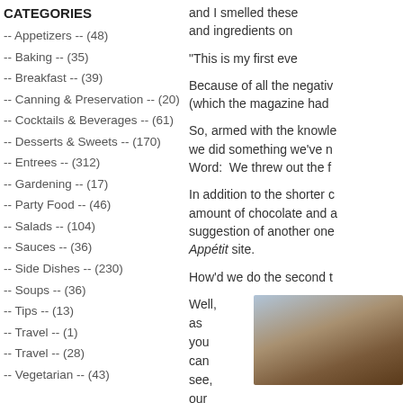CATEGORIES
-- Appetizers -- (48)
-- Baking -- (35)
-- Breakfast -- (39)
-- Canning & Preservation -- (20)
-- Cocktails & Beverages -- (61)
-- Desserts & Sweets -- (170)
-- Entrees -- (312)
-- Gardening -- (17)
-- Party Food -- (46)
-- Salads -- (104)
-- Sauces -- (36)
-- Side Dishes -- (230)
-- Soups -- (36)
-- Tips -- (13)
-- Travel -- (1)
-- Travel -- (28)
-- Vegetarian -- (43)
and I smelled these and ingredients on
"This is my first eve
Because of all the negativ (which the magazine had
So, armed with the knowle we did something we've n Word:  We threw out the f
In addition to the shorter c amount of chocolate and a suggestion of another one Appétit site.
How'd we do the second t
Well, as you can see, our
[Figure (photo): Close-up photo of a baked chocolate item, brownish-reddish textured surface]